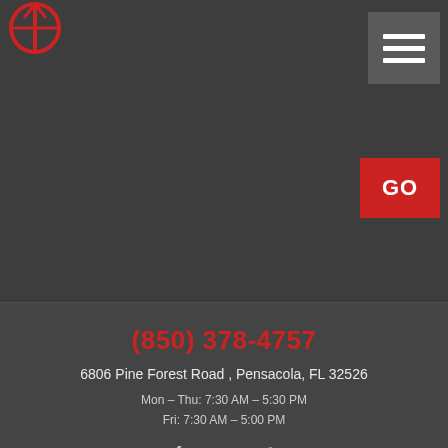[Figure (logo): Red circular logo with sword/cross design in top left corner]
[Figure (other): Hamburger menu button (three white horizontal lines) on dark gray background in top right]
[Figure (other): Red GO button]
(850) 378-4757
6806 Pine Forest Road , Pensacola, FL 32526
Mon – Thu: 7:30 AM – 5:30 PM
Fri: 7:30 AM – 5:00 PM
[Figure (other): Social media icons: Facebook, Google, Yelp]
Image Credits
6806 Pine Forest Road Pensacola, FL 32526 (850) 944-5540
Website by KUKUI